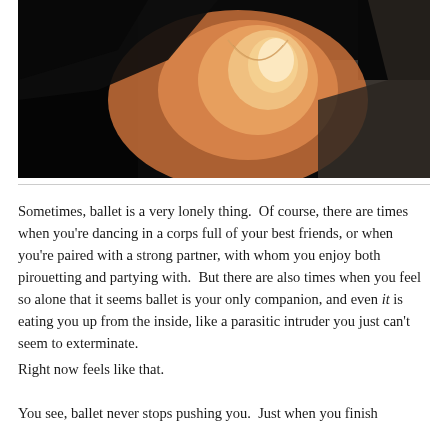[Figure (photo): Close-up photo of a person wearing a light-colored top with a necklace, shot in warm orange/amber lighting against a dark background]
Sometimes, ballet is a very lonely thing.  Of course, there are times when you’re dancing in a corps full of your best friends, or when you’re paired with a strong partner, with whom you enjoy both pirouetting and partying with.  But there are also times when you feel so alone that it seems ballet is your only companion, and even it is eating you up from the inside, like a parasitic intruder you just can’t seem to exterminate.
Right now feels like that.
You see, ballet never stops pushing you.  Just when you finish